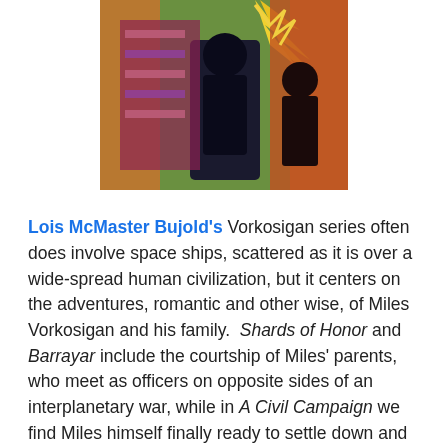[Figure (illustration): Book cover illustration showing figures in colorful fantasy/science-fiction artwork with characters in action poses]
Lois McMaster Bujold's Vorkosigan series often does involve space ships, scattered as it is over a wide-spread human civilization, but it centers on the adventures, romantic and other wise, of Miles Vorkosigan and his family.  Shards of Honor and Barrayar include the courtship of Miles' parents, who meet as officers on opposite sides of an interplanetary war, while in A Civil Campaign we find Miles himself finally ready to settle down and court a charming young widow.  There's plenty of action, both military and interpersonal, in the rest of the series.  Bujold also writes award-winning fantasy.
While McCaffrey, Bradley and Bujold are long-standing